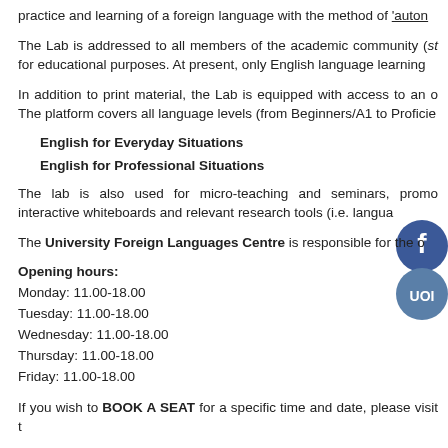practice and learning of a foreign language with the method of 'auton…
The Lab is addressed to all members of the academic community (st… for educational purposes. At present, only English language learning…
In addition to print material, the Lab is equipped with access to an o… The platform covers all language levels (from Beginners/A1 to Proficie…
English for Everyday Situations
English for Professional Situations
The lab is also used for micro-teaching and seminars, promo… interactive whiteboards and relevant research tools (i.e. langua…
The University Foreign Languages Centre is responsible for the o…
Opening hours:
Monday: 11.00-18.00
Tuesday: 11.00-18.00
Wednesday: 11.00-18.00
Thursday: 11.00-18.00
Friday: 11.00-18.00
If you wish to BOOK A SEAT for a specific time and date, please visit t…